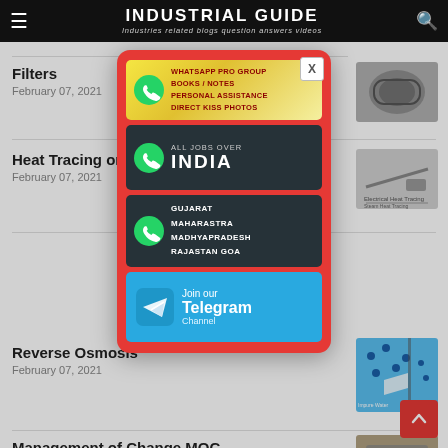INDUSTRIAL GUIDE — Industries related blogs question answers videos
Filters
February 07, 2021
Heat Tracing on Pi
February 07, 2021
[Figure (infographic): Popup advertisement with WhatsApp group banners (gold, dark), regional WhatsApp groups (Gujarat, Maharashtra, Madhyapradesh, Rajastan Goa), and Join our Telegram Channel banner. Red background with close X button.]
Reverse Osmosis
February 07, 2021
Management of Change MOC